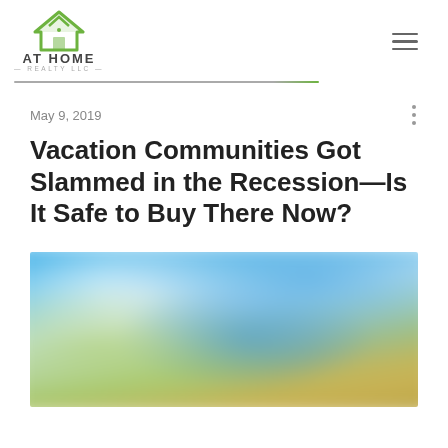AT HOME REALTY LLC
May 9, 2019
Vacation Communities Got Slammed in the Recession—Is It Safe to Buy There Now?
[Figure (photo): Blurred outdoor beach/vacation scene with blue sky, water, and sandy tones]